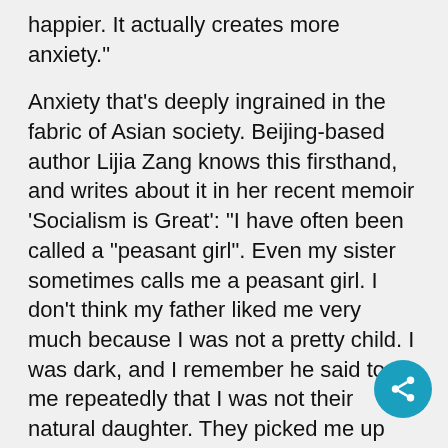happier. It actually creates more anxiety."
Anxiety that's deeply ingrained in the fabric of Asian society. Beijing-based author Lijia Zang knows this firsthand, and writes about it in her recent memoir 'Socialism is Great': "I have often been called a "peasant girl". Even my sister sometimes calls me a peasant girl. I don't think my father liked me very much because I was not a pretty child. I was dark, and I remember he said to me repeatedly that I was not their natural daughter. They picked me up from a coal dump, which was why my skin was so dark."
Across much of Asia, long held views about dark superiority help explain the appeal of skin whitening. So says Anne Rose Kitagawa, assistant